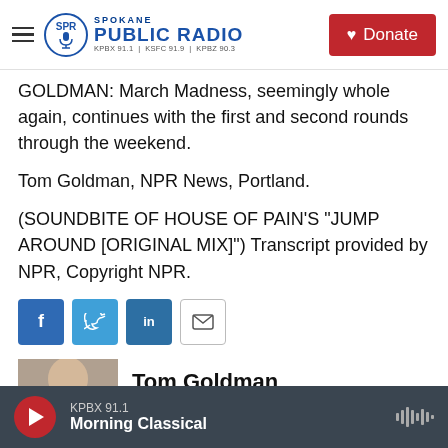Spokane Public Radio — KPBX 91.1 | KSFC 91.9 | KPBZ 90.3
GOLDMAN: March Madness, seemingly whole again, continues with the first and second rounds through the weekend.
Tom Goldman, NPR News, Portland.
(SOUNDBITE OF HOUSE OF PAIN'S "JUMP AROUND [ORIGINAL MIX]") Transcript provided by NPR, Copyright NPR.
[Figure (other): Social share buttons: Facebook, Twitter, LinkedIn, Email]
[Figure (photo): Author photo of Tom Goldman, partial view]
Tom Goldman
KPBX 91.1 — Morning Classical — audio player bar